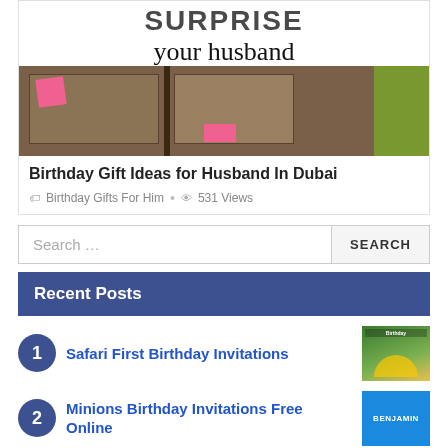[Figure (photo): Card showing 'SURPRISE your husband' text with photo of office cubicles with pink sticky notes]
Birthday Gift Ideas for Husband In Dubai
Birthday Gifts For Him • 531 Views
Search …
Recent Posts
Safari First Birthday Invitations
Minions Birthday Invitations Free Online